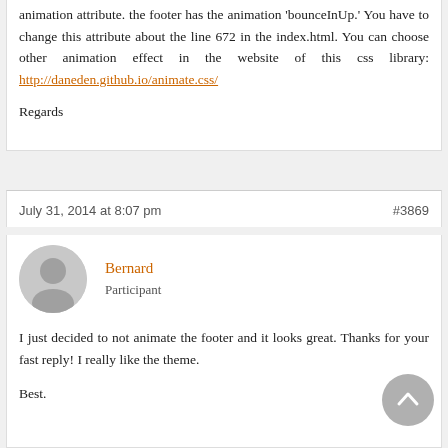animation attribute. the footer has the animation 'bounceInUp.' You have to change this attribute about the line 672 in the index.html. You can choose other animation effect in the website of this css library: http://daneden.github.io/animate.css/
Regards
July 31, 2014 at 8:07 pm
#3869
Bernard
Participant
I just decided to not animate the footer and it looks great. Thanks for your fast reply! I really like the theme.
Best.